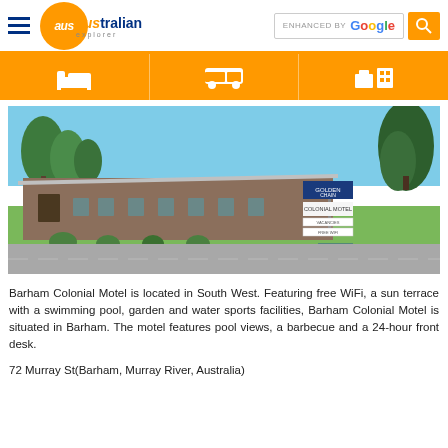australian explorer — ENHANCED BY Google
[Figure (photo): Barham Colonial Motel building exterior with signage, trees, lawn and driveway]
Barham Colonial Motel is located in South West. Featuring free WiFi, a sun terrace with a swimming pool, garden and water sports facilities, Barham Colonial Motel is situated in Barham. The motel features pool views, a barbecue and a 24-hour front desk.
72 Murray St(Barham, Murray River, Australia)